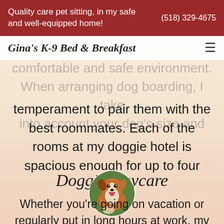Quality care pet sitting, in my safe and well-equipped home!  (518) 329-4675
Gina's K-9 Bed & Breakfast
comfortable and safe environment. When arranging dog boarding, I take into account your dog's size and temperament to pair them with the best roommates. Each of the rooms at my doggie hotel is spacious enough for up to four dogs.
[Figure (photo): Circular photo of a brown and white dog (likely a Border Collie or similar breed) with mouth open, set against a green background]
Doggie Daycare
Whether you're going on vacation or regularly put in long hours at work, my